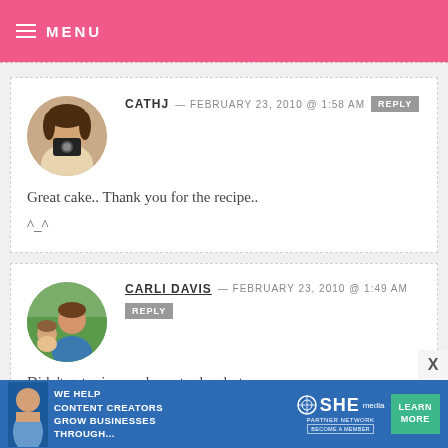≡ MENU
CATHJ — FEBRUARY 23, 2010 @ 1:58 AM  REPLY
Great cake.. Thank you for the recipe..
^_^
CARLI DAVIS — FEBRUARY 23, 2010 @ 1:49 AM  REPLY
Didn't get mine made yesterday, but seriously thinking it's going to have to happen today. That looks beautiful
[Figure (infographic): SHE Partner Network advertisement banner: WE HELP CONTENT CREATORS GROW BUSINESSES THROUGH... with LEARN MORE button]